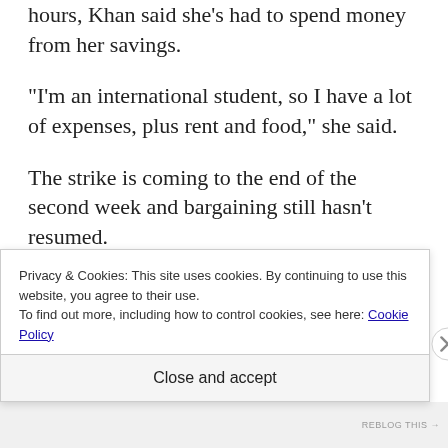hours, Khan said she’s had to spend money from her savings.
“I’m an international student, so I have a lot of expenses, plus rent and food,” she said.
The strike is coming to the end of the second week and bargaining still hasn’t resumed.
“I just really hope it doesn’t affect our whole s
Privacy & Cookies: This site uses cookies. By continuing to use this website, you agree to their use.
To find out more, including how to control cookies, see here: Cookie Policy
Close and accept